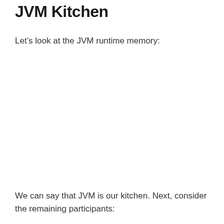JVM Kitchen
Let’s look at the JVM runtime memory:
We can say that JVM is our kitchen. Next, consider the remaining participants: